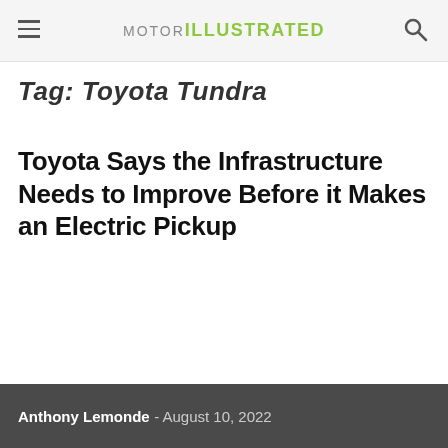MOTOR ILLUSTRATED
Tag: Toyota Tundra
Toyota Says the Infrastructure Needs to Improve Before it Makes an Electric Pickup
Anthony Lemonde - August 10, 2022